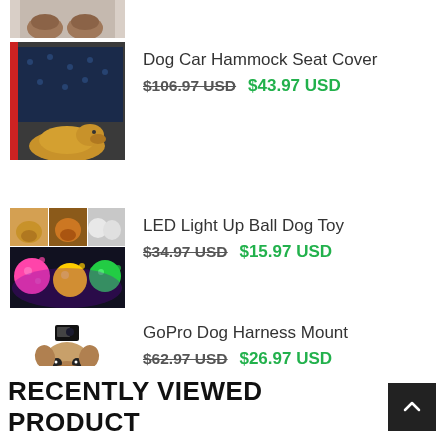[Figure (photo): Partial product image at top, cropped]
[Figure (photo): Dog car hammock seat cover product image with paw print pattern, shown in car trunk with golden retriever]
Dog Car Hammock Seat Cover
$106.97 USD  $43.97 USD
[Figure (photo): LED Light Up Ball Dog Toy — collage of puppy photos and colorful spiked glowing balls]
LED Light Up Ball Dog Toy
$34.97 USD  $15.97 USD
[Figure (photo): GoPro Dog Harness Mount — pug wearing harness mount with GoPro camera]
GoPro Dog Harness Mount
$62.97 USD  $26.97 USD
RECENTLY VIEWED PRODUCT